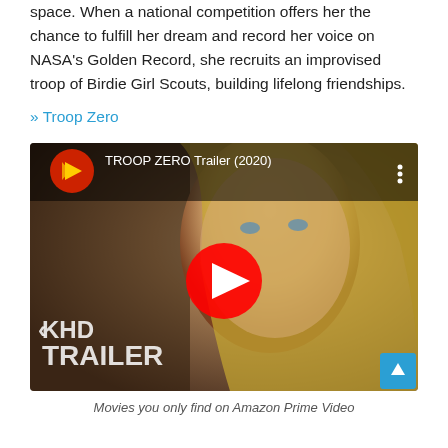space. When a national competition offers her the chance to fulfill her dream and record her voice on NASA's Golden Record, she recruits an improvised troop of Birdie Girl Scouts, building lifelong friendships.
» Troop Zero
[Figure (screenshot): YouTube video thumbnail for TROOP ZERO Trailer (2020) showing a blonde girl with blue eyes. KHD Trailer watermark visible. Red YouTube play button in center.]
Movies you only find on Amazon Prime Video